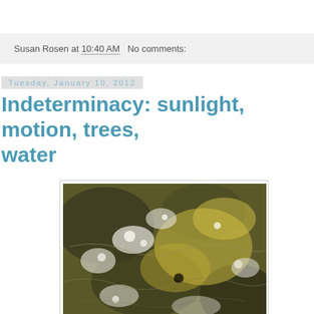Susan Rosen at 10:40 AM   No comments:
Tuesday, January 10, 2012
Indeterminacy: sunlight, motion, trees, water
[Figure (photo): Close-up photograph of turbulent water with sunlight reflecting off the surface, showing foamy white water mixed with darker areas and golden/yellow-green tones from sunlight and vegetation.]